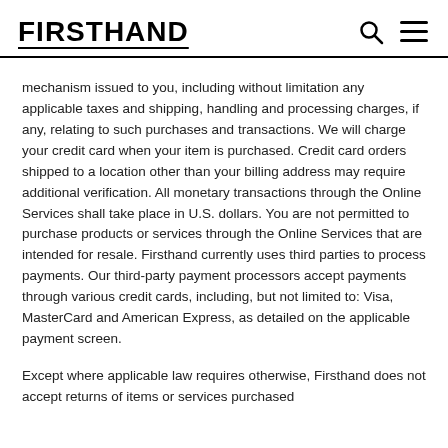FIRSTHAND
mechanism issued to you, including without limitation any applicable taxes and shipping, handling and processing charges, if any, relating to such purchases and transactions. We will charge your credit card when your item is purchased. Credit card orders shipped to a location other than your billing address may require additional verification. All monetary transactions through the Online Services shall take place in U.S. dollars. You are not permitted to purchase products or services through the Online Services that are intended for resale. Firsthand currently uses third parties to process payments. Our third-party payment processors accept payments through various credit cards, including, but not limited to: Visa, MasterCard and American Express, as detailed on the applicable payment screen.
Except where applicable law requires otherwise, Firsthand does not accept returns of items or services purchased